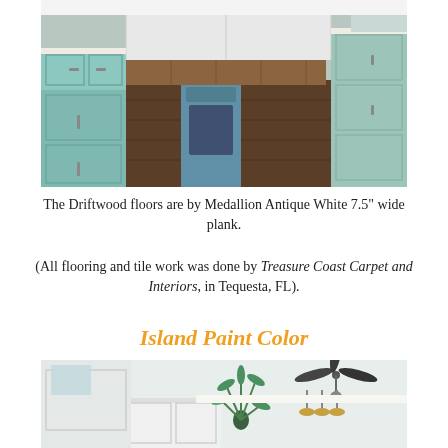[Figure (photo): Interior kitchen photo showing light blue/mint lower cabinets with dark hardware, white upper cabinets, dark wood plank flooring (Driftwood style), and a decorative wood backsplash behind the range.]
The Driftwood floors are by Medallion Antique White 7.5" wide plank.
(All flooring and tile work was done by Treasure Coast Carpet and Interiors, in Tequesta, FL).
Island Paint Color
[Figure (photo): Interior photo showing a white kitchen island with white cabinetry, tropical plant, ceiling fan, and pendant lighting.]